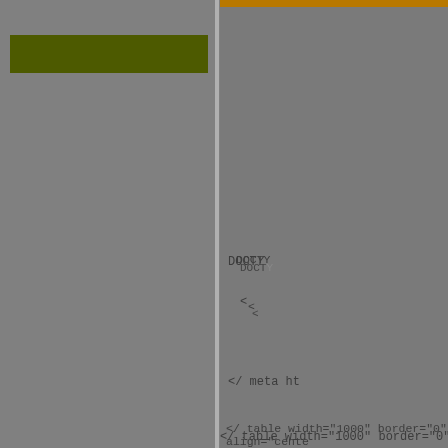[Figure (screenshot): Screenshot of a web editor or IDE interface showing two panels. Left panel has a dark olive/yellow-green horizontal bar near the top. Right panel has a gold/brown top border and shows HTML code fragments: 'DOCT...' (DOCTYPE), '<...' (opening tag), '</  meta ht...' (meta tag), and '</  table width="1000" border="0" align="cente...' (table tag). Both panels have a gray background.]